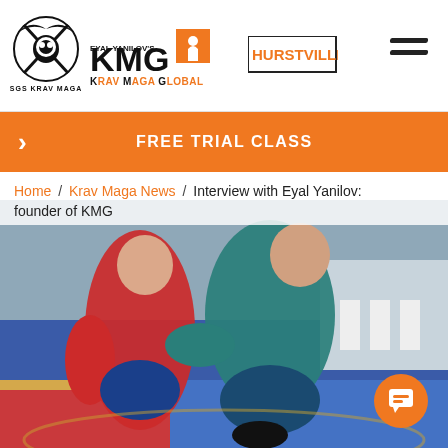[Figure (logo): SGS Krav Maga, KMG Krav Maga Global by Eyal Yanilov, and Hurstville logos in header bar]
[Figure (infographic): Orange bar with right-chevron and bold text FREE TRIAL CLASS]
Home / Krav Maga News / Interview with Eyal Yanilov: founder of KMG
[Figure (photo): Two martial arts competitors grappling on a mat, one in red uniform and one in teal/blue uniform, with spectators in background]